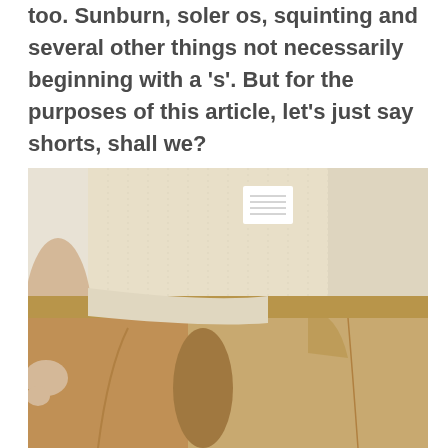too. Sunburn, soler os, squinting and several other things not necessarily beginning with a 's'. But for the purposes of this article, let's just say shorts, shall we?
[Figure (photo): Close-up photo of a person wearing beige/khaki shorts and a cream/off-white knit sweater, with one hand in the pocket of the shorts. A small white label is visible on the back of the sweater.]